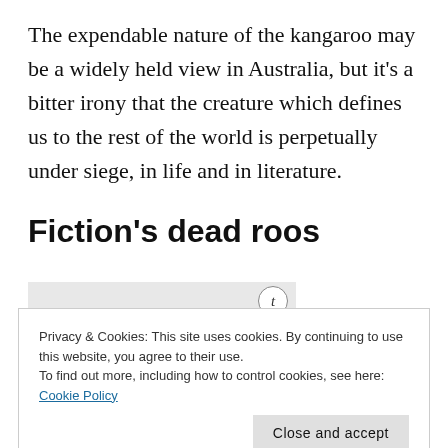The expendable nature of the kangaroo may be a widely held view in Australia, but it's a bitter irony that the creature which defines us to the rest of the world is perpetually under siege, in life and in literature.
Fiction's dead roos
[Figure (illustration): Partial view of a book cover showing italic 't' icon in a circle at top right and the author name 'Stephen' in gold/yellow serif font at the bottom, on a light grey background.]
Privacy & Cookies: This site uses cookies. By continuing to use this website, you agree to their use.
To find out more, including how to control cookies, see here: Cookie Policy
[Figure (photo): Bottom portion of a landscape photograph showing a warm-toned outdoor scene.]